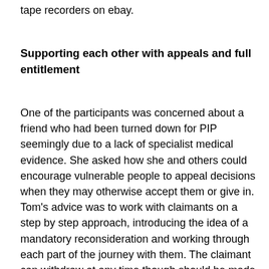tape recorders on ebay.
Supporting each other with appeals and full entitlement
One of the participants was concerned about a friend who had been turned down for PIP seemingly due to a lack of specialist medical evidence. She asked how she and others could encourage vulnerable people to appeal decisions when they may otherwise accept them or give in. Tom's advice was to work with claimants on a step by step approach, introducing the idea of a mandatory reconsideration and working through each part of the journey with them. The claimant can withdraw at any time though should be made aware of the further they go in the process the more likely they are to be successful. Many claimants may find appeals intimidating since these can be heard in various buildings including a crown court